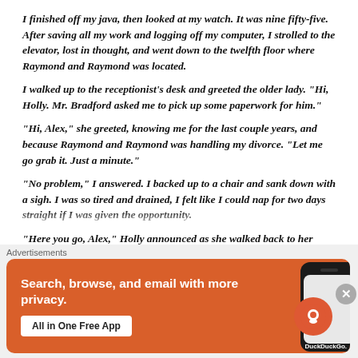I finished off my java, then looked at my watch. It was nine fifty-five. After saving all my work and logging off my computer, I strolled to the elevator, lost in thought, and went down to the twelfth floor where Raymond and Raymond was located.
I walked up to the receptionist’s desk and greeted the older lady. “Hi, Holly. Mr. Bradford asked me to pick up some paperwork for him.”
“Hi, Alex,” she greeted, knowing me for the last couple years, and because Raymond and Raymond was handling my divorce. “Let me go grab it. Just a minute.”
“No problem,” I answered. I backed up to a chair and sank down with a sigh. I was so tired and drained, I felt like I could nap for two days straight if I was given the opportunity.
“Here you go, Alex,” Holly announced as she walked back to her desk.
“Thanks,” I said, taking the sealed envelope. “You wouldn’t happen…
Advertisements
[Figure (other): DuckDuckGo advertisement banner with orange background. Text reads: Search, browse, and email with more privacy. All in One Free App. Shows a phone with DuckDuckGo logo.]